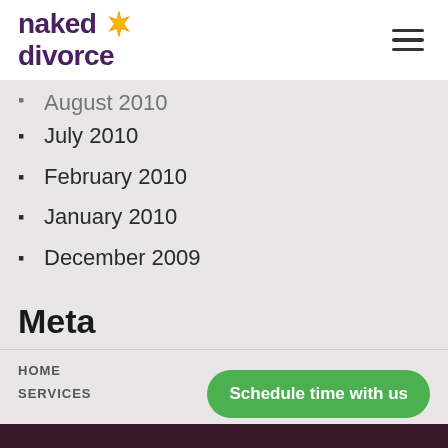naked divorce
August 2010 (clipped)
July 2010
February 2010
January 2010
December 2009
Meta
Log in
Entries feed
Comments feed
WordPress.org
HOME
SERVICES
Schedule time with us